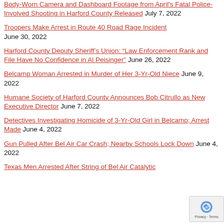Body-Worn Camera and Dashboard Footage from April's Fatal Police-Involved Shooting in Harford County Released July 7, 2022
Troopers Make Arrest in Route 40 Road Rage Incident June 30, 2022
Harford County Deputy Sheriff's Union: "Law Enforcement Rank and File Have No Confidence in Al Peisinger" June 26, 2022
Belcamp Woman Arrested in Murder of Her 3-Yr-Old Niece June 9, 2022
Humane Society of Harford County Announces Bob Citrullo as New Executive Director June 7, 2022
Detectives Investigating Homicide of 3-Yr-Old Girl in Belcamp; Arrest Made June 4, 2022
Gun Pulled After Bel Air Car Crash; Nearby Schools Lock Down June 4, 2022
Texas Men Arrested After String of Bel Air Catalytic...